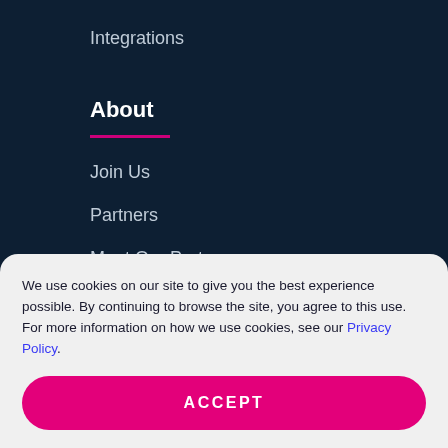Integrations
About
Join Us
Partners
Meet Our Partners
Contact
Resources
We use cookies on our site to give you the best experience possible. By continuing to browse the site, you agree to this use. For more information on how we use cookies, see our Privacy Policy.
ACCEPT